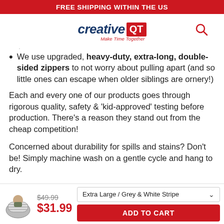FREE SHIPPING WITHIN THE US
[Figure (logo): Creative QT logo with tagline 'Make Time Together' and search icon]
We use upgraded, heavy-duty, extra-long, double-sided zippers to not worry about pulling apart (and so little ones can escape when older siblings are ornery!)
Each and every one of our products goes through rigorous quality, safety & 'kid-approved' testing before production. There's a reason they stand out from the cheap competition!
Concerned about durability for spills and stains? Don't be! Simply machine wash on a gentle cycle and hang to dry.
[Figure (photo): Product thumbnail image of grey and white striped bean bag with child]
$49.99
$31.99
Extra Large / Grey & White Stripe
ADD TO CART